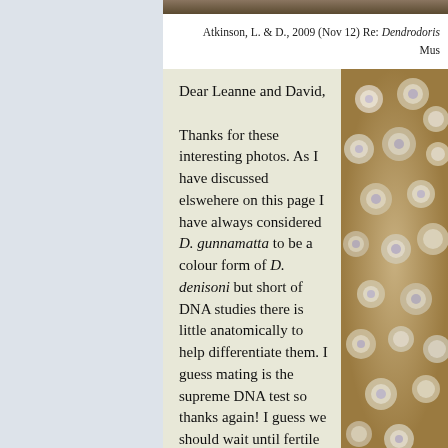[Figure (photo): Top strip showing a close-up photo of marine organism (nudibranch)]
Atkinson, L. & D., 2009 (Nov 12) Re: Dendrodoris Mus
[Figure (photo): Close-up photo of Dendrodoris nudibranch showing bumpy white/grey tubercles on yellowish surface]
Dear Leanne and David,

Thanks for these interesting photos. As I have discussed elswehere on this page I have always considered D. gunnamatta to be a colour form of D. denisoni but short of DNA studies there is little anatomically to help differentiate them. I guess mating is the supreme DNA test so thanks again! I guess we should wait until fertile offspring are produced